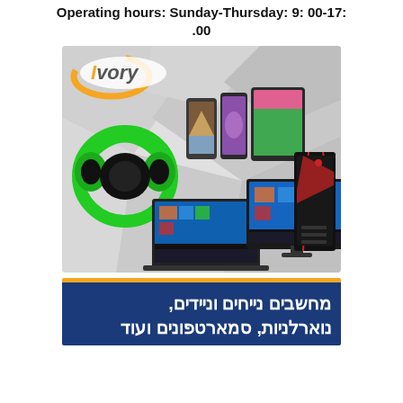Operating hours: Sunday-Thursday: 9: 00-17:.00
[Figure (illustration): Ivory electronics store banner with logo and product images: green gaming headphones, smartphones (iPhone and Samsung), tablet, laptop, monitor, and gaming PC tower on a geometric grey polygon background.]
מחשבים נייחים וניידים, נוארלניות, סמארטפונים ועוד